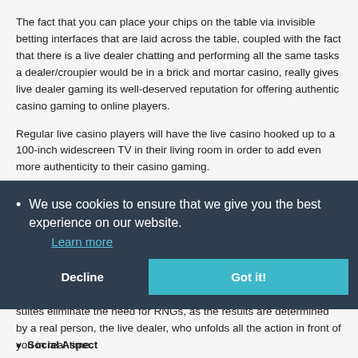The fact that you can place your chips on the table via invisible betting interfaces that are laid across the table, coupled with the fact that there is a live dealer chatting and performing all the same tasks a dealer/croupier would be in a brick and mortar casino, really gives live dealer gaming its well-deserved reputation for offering authentic casino gaming to online players.
Regular live casino players will have the live casino hooked up to a 100-inch widescreen TV in their living room in order to add even more authenticity to their casino gaming.
We use cookies to ensure that we give you the best experience on our website. Learn more
Some people do not trust random number generators (RNGs) used to determine the results of virtual casino games. Instead, live dealer suites eliminate the need for RNGs, as the results are determined by a real person, the live dealer, who unfolds all the action in front of you in real-time.
Social Aspect